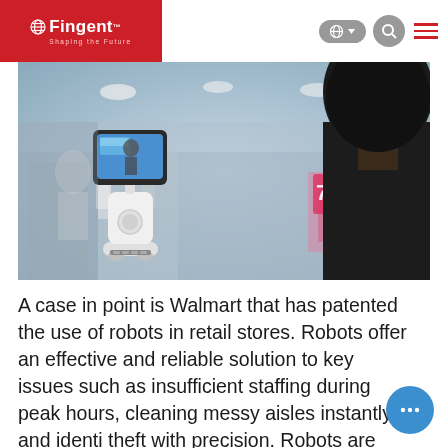Fingent — Shaping the Future
[Figure (photo): A retail store scene with a white telepresence robot on wheels displaying a screen showing people, and a person in dark clothing viewing from the right foreground. Blurred retail store background with shoppers and displays.]
A case in point is Walmart that has patented the use of robots in retail stores. Robots offer an effective and reliable solution to key issues such as insufficient staffing during peak hours, cleaning messy aisles instantly, and identi theft with precision. Robots are excellent workers. and an HR department's dream-come-